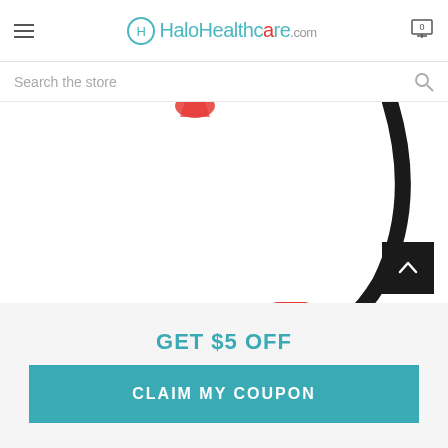HaloHealthcare.com
[Figure (screenshot): A screenshot of a website header showing HaloHealthcare.com with hamburger menu and cart icon, a search bar, and a product photo of a flexible black cord with red ribbed handle/tip on white background. A scroll-to-top button (black with up arrow) and a close button (gray circle with X) are overlaid on the product image.]
GET $5 OFF
CLAIM MY COUPON